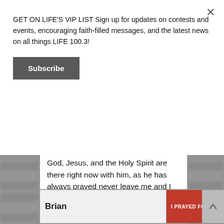GET ON LIFE'S VIP LIST Sign up for updates on contests and events, encouraging faith-filled messages, and the latest news on all things LIFE 100.3!
Subscribe
God, Jesus, and the Holy Spirit are there right now with him, as he has always prayed never leave me and I will never leave you to the Father, Son, and Holy Ghost every single day. 🙏
Posted on January 4th, 2022
Brian
I PRAYED FOR THIS!